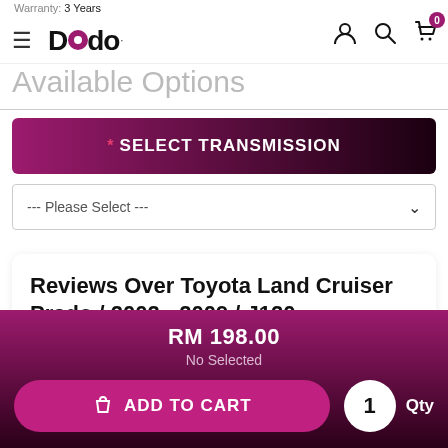Warranty: 3 Years
[Figure (logo): Dodo brand logo with purple dot in letter O, hamburger menu icon, user icon, search icon, shopping cart icon with badge 0]
Available Options
* SELECT TRANSMISSION
--- Please Select ---
Reviews Over Toyota Land Cruiser Prado / 2002 - 2009 / J120
RM 198.00
No Selected
ADD TO CART
1 Qty